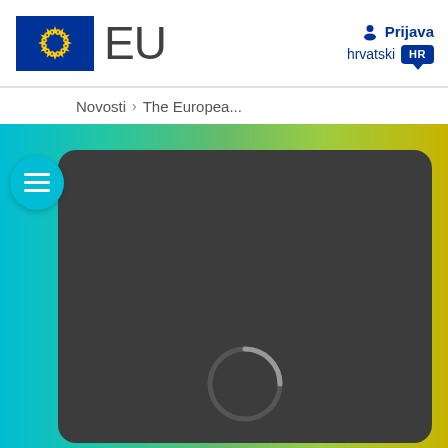[Figure (logo): EU logo: European flag (blue rectangle with circle of yellow stars) followed by 'EU' text in large grey letters]
Prijava
hrvatski HR
Novosti › The Europea...
[Figure (screenshot): Gradient banner from cyan-teal to yellow-green with a dark rounded rectangle card partially visible, containing a loading spinner arc at bottom center]